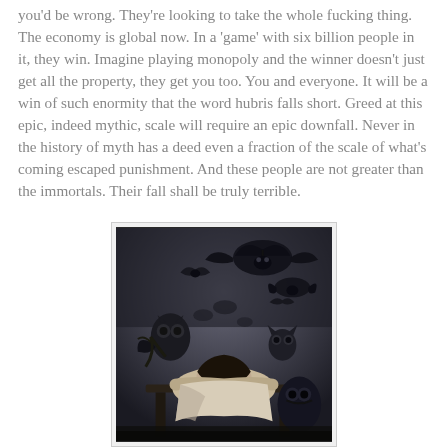you'd be wrong. They're looking to take the whole fucking thing. The economy is global now. In a 'game' with six billion people in it, they win. Imagine playing monopoly and the winner doesn't just get all the property, they get you too. You and everyone. It will be a win of such enormity that the word hubris falls short. Greed at this epic, indeed mythic, scale will require an epic downfall. Never in the history of myth has a deed even a fraction of the scale of what's coming escaped punishment. And these people are not greater than the immortals. Their fall shall be truly terrible.
[Figure (illustration): Goya's 'The Sleep of Reason Produces Monsters' - a dark etching showing a sleeping figure slumped over a desk while bats and owls swarm around them in darkness]